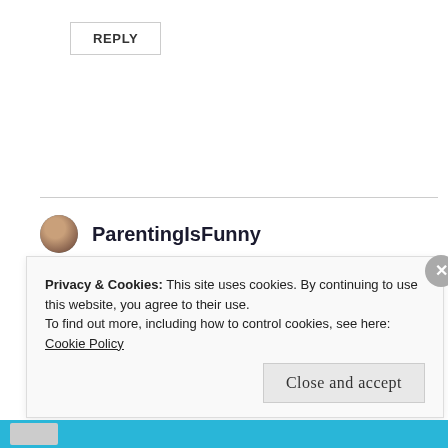REPLY
ParentingIsFunny
August 2, 2016 at 3:42 pm
Privacy & Cookies: This site uses cookies. By continuing to use this website, you agree to their use.
To find out more, including how to control cookies, see here: Cookie Policy
Close and accept